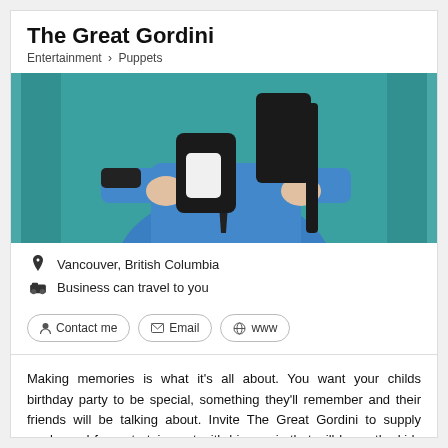The Great Gordini
Entertainment > Puppets
[Figure (photo): Person in blue shirt performing with black puppet/marionette against teal background]
Vancouver, British Columbia
Business can travel to you
Contact me  Email  www
Making memories is what it's all about. You want your childs birthday party to be special, something they'll remember and their friends will be talking about. Invite The Great Gordini to supply wacky and fun entertainment with his magic that will leave the kids talking for months